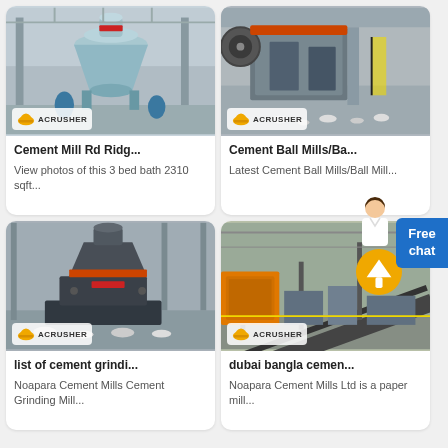[Figure (photo): Industrial cone crusher machine in a factory setting with ACRUSHER branding badge]
Cement Mill Rd Ridg...
View photos of this 3 bed bath 2310 sqft...
[Figure (photo): Cement ball mill / jaw crusher machine in industrial setting with ACRUSHER branding badge]
Cement Ball Mills/Ba...
Latest Cement Ball Mills/Ball Mill...
[Figure (photo): VSI crusher machine on factory floor with ACRUSHER branding badge]
list of cement grindi...
Noapara Cement Mills Cement Grinding Mill...
[Figure (photo): Conveyor belt machinery in industrial setting with orange upload button and ACRUSHER branding badge]
dubai bangla cemen...
Noapara Cement Mills Ltd is a paper mill...